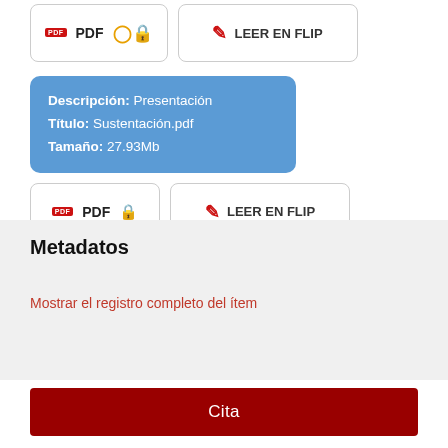[Figure (screenshot): Two buttons: PDF with open-access lock icon, and LEER EN FLIP with flip icon (top row)]
Descripción: Presentación
Título: Sustentación.pdf
Tamaño: 27.93Mb
[Figure (screenshot): Two buttons: PDF with open-access lock icon, and LEER EN FLIP with flip icon (second row)]
Metadatos
Mostrar el registro completo del ítem
Cita
Cómo citar